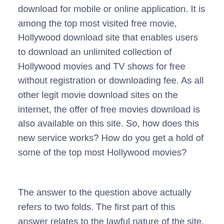download for mobile or online application. It is among the top most visited free movie, Hollywood download site that enables users to download an unlimited collection of Hollywood movies and TV shows for free without registration or downloading fee. As all other legit movie download sites on the internet, the offer of free movies download is also available on this site. So, how does this new service works? How do you get a hold of some of the top most Hollywood movies?
The answer to the question above actually refers to two folds. The first part of this answer relates to the lawful nature of the site. In accordance with the terms and conditions of their membership, all legitimate members are allowed to freely download any movie they like from the